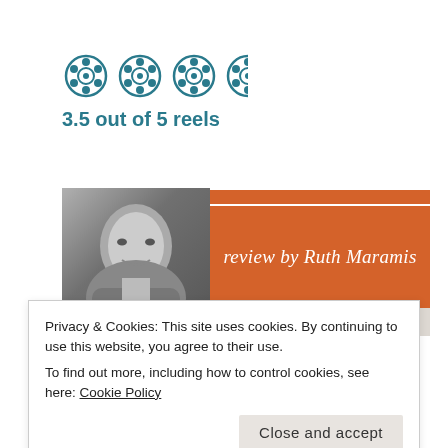[Figure (infographic): 3.5 out of 5 film reel icons in teal/blue color, followed by rating text]
3.5 out of 5 reels
[Figure (photo): Author banner with black and white headshot photo on left and orange panel reading 'review by Ruth Maramis' on right]
Privacy & Cookies: This site uses cookies. By continuing to use this website, you agree to their use.
To find out more, including how to control cookies, see here: Cookie Policy
Close and accept